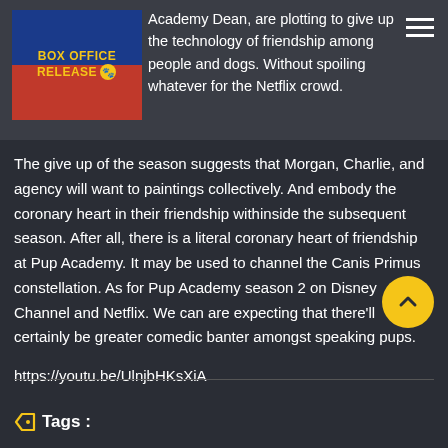Academy Dean, are plotting to give up the technology of friendship among people and dogs. Without spoiling whatever for the Netflix crowd.
The give up of the season suggests that Morgan, Charlie, and agency will want to paintings collectively. And embody the coronary heart in their friendship withinside the subsequent season. After all, there is a literal coronary heart of friendship at Pup Academy. It may be used to channel the Canis Primus constellation. As for Pup Academy season 2 on Disney Channel and Netflix. We can are expecting that there'll certainly be greater comedic banter amongst speaking pups.
https://youtu.be/UlnjbHKsXiA
Tags :